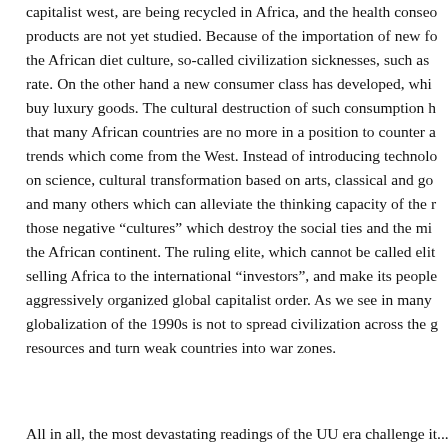Electronic goods, fridges, and refrigerators which are no more used in the capitalist west, are being recycled in Africa, and the health consequences of these products are not yet studied. Because of the importation of new food products into the African diet culture, so-called civilization sicknesses, such as obesity, are on the rise rate. On the other hand a new consumer class has developed, which has enough money to buy luxury goods. The cultural destruction of such consumption has become so serious that many African countries are no more in a position to counter all the consumption trends which come from the West. Instead of introducing technologies primarily based on science, cultural transformation based on arts, classical and good music, literature, and many others which can alleviate the thinking capacity of the mind, and eliminate those negative “cultures” which destroy the social ties and the minds of the people of the African continent. The ruling elite, which cannot be called elite, is systematically selling Africa to the international “investors”, and make its people subjects to the aggressively organized global capitalist order. As we see in many African countries, globalization of the 1990s is not to spread civilization across the globe, but to rob its resources and turn weak countries into war zones.
All in all, the most devastating readings of the UU era challenge it...